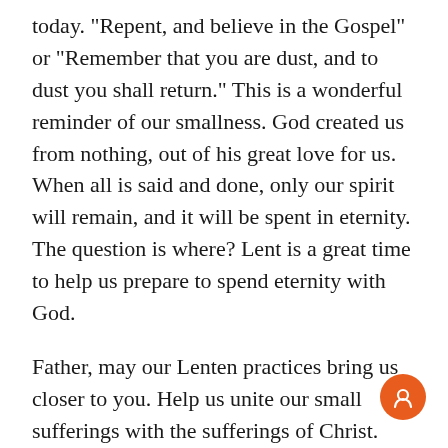today. "Repent, and believe in the Gospel" or "Remember that you are dust, and to dust you shall return." This is a wonderful reminder of our smallness. God created us from nothing, out of his great love for us. When all is said and done, only our spirit will remain, and it will be spent in eternity. The question is where? Lent is a great time to help us prepare to spend eternity with God.
Father, may our Lenten practices bring us closer to you. Help us unite our small sufferings with the sufferings of Christ. Amen.